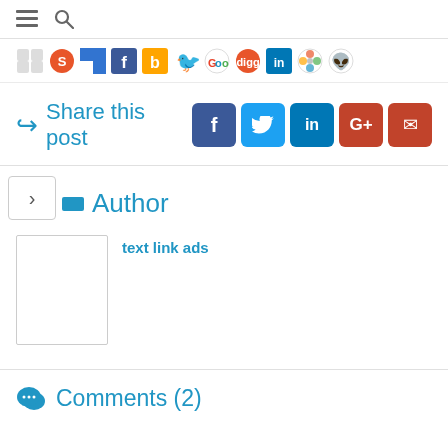[Figure (screenshot): Top navigation bar with hamburger menu and search icon]
[Figure (infographic): Row of social media bookmark icons including StumbleUpon, Delicious, Facebook, Buzz, Twitter, Google Maps, Digg, LinkedIn, Pinwheel, Reddit]
Share this post
[Figure (infographic): Share buttons: Facebook (f), Twitter (bird), LinkedIn (in), Google+ (G+), Email (envelope)]
Author
text link ads
Comments (2)